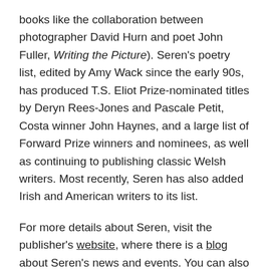books like the collaboration between photographer David Hurn and poet John Fuller, Writing the Picture). Seren's poetry list, edited by Amy Wack since the early 90s, has produced T.S. Eliot Prize-nominated titles by Deryn Rees-Jones and Pascale Petit, Costa winner John Haynes, and a large list of Forward Prize winners and nominees, as well as continuing to publishing classic Welsh writers. Most recently, Seren has also added Irish and American writers to its list.
For more details about Seren, visit the publisher's website, where there is a blog about Seren's news and events. You can also find Seren on Facebook, on Twitter, and on YouTube, where there are videos of a number of poets reading from their work.